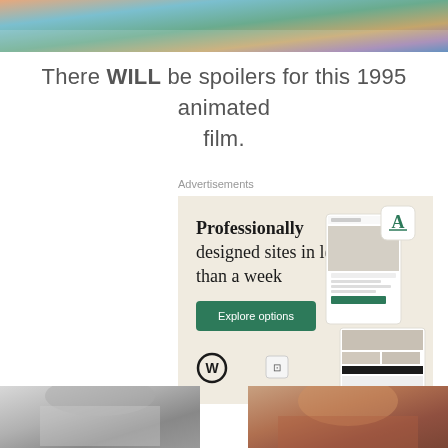[Figure (photo): Colorful animated scene at top of page, partial crop]
There WILL be spoilers for this 1995 animated film.
[Figure (screenshot): WordPress advertisement: 'Professionally designed sites in less than a week' with Explore options button and website mockup screenshots]
[Figure (photo): Two partial photos at bottom: black and white image on left, warm-toned image on right]